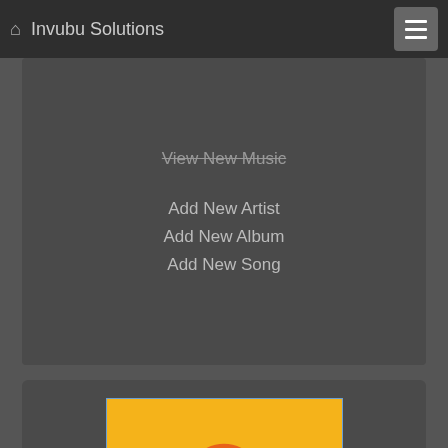Invubu Solutions
View New Music
Add New Artist
Add New Album
Add New Song
[Figure (logo): Audible logo on yellow background with orange/red/purple wifi-arc icon above open book pages]
LION
by Elevation Worship
[Figure (photo): Close-up photo of a lion's face from above, misty background]